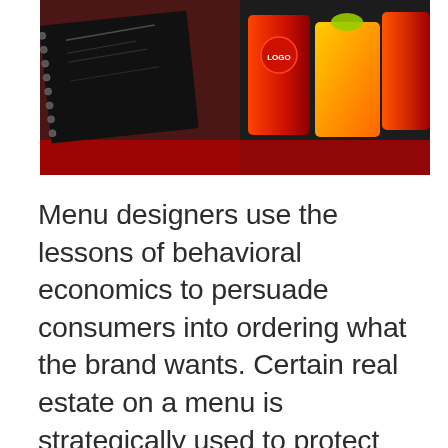[Figure (photo): A restaurant menu booklet with spiral binding shown at an angle on a red surface, with colorful cocktail drinks (red and orange) visible in the background on a dark background.]
Menu designers use the lessons of behavioral economics to persuade consumers into ordering what the brand wants. Certain real estate on a menu is strategically used to protect profit while other sections are used to encourage impulse buying.